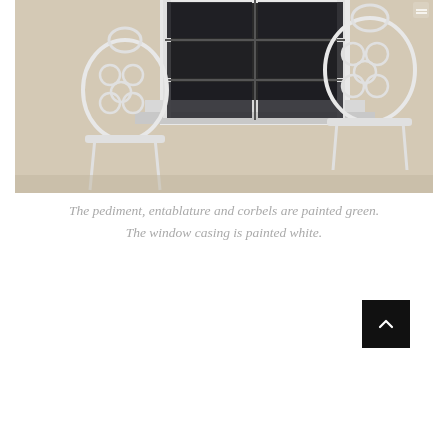[Figure (photo): Photograph of a house exterior showing a window with white casing, white decorative cast iron garden chairs on either side, and a painted exterior wall with pediment, entablature and corbels.]
The pediment, entablature and corbels are painted green. The window casing is painted white.